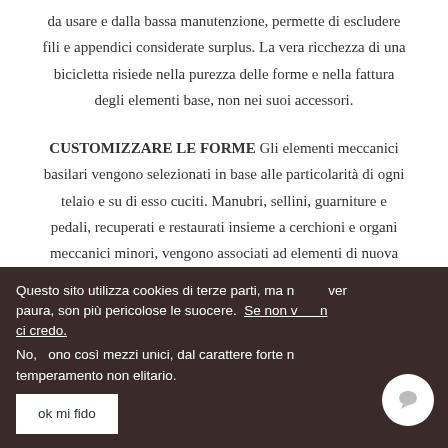da usare e dalla bassa manutenzione, permette di escludere fili e appendici considerate surplus. La vera ricchezza di una bicicletta risiede nella purezza delle forme e nella fattura degli elementi base, non nei suoi accessori.
CUSTOMIZZARE LE FORME Gli elementi meccanici basilari vengono selezionati in base alle particolarità di ogni telaio e su di esso cuciti. Manubri, sellini, guarniture e pedali, recuperati e restaurati insieme a cerchioni e organi meccanici minori, vengono associati ad elementi di nuova fattura, che garantiscono la perfetta efficienza di ogni mezzo. Una composizione che disegna le forme di ogni Dannata,
Questo sito utilizza cookies di terze parti, ma non aver paura, son più pericolose le suocere. Se non vi credi ci credo. No, sono così mezzi unici, dal carattere forte m temperamento non elitario.